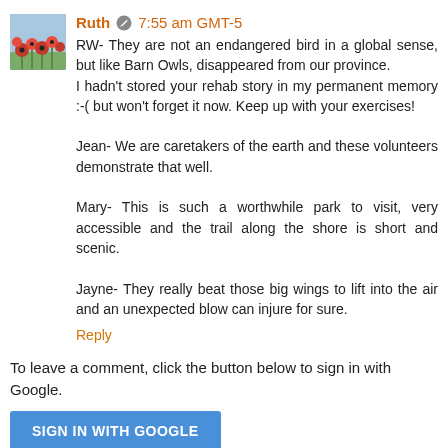[Figure (photo): Avatar thumbnail showing red poppies painting]
Ruth ✏ 7:55 am GMT-5
RW- They are not an endangered bird in a global sense, but like Barn Owls, disappeared from our province.
I hadn't stored your rehab story in my permanent memory :-( but won't forget it now. Keep up with your exercises!

Jean- We are caretakers of the earth and these volunteers demonstrate that well.

Mary- This is such a worthwhile park to visit, very accessible and the trail along the shore is short and scenic.

Jayne- They really beat those big wings to lift into the air and an unexpected blow can injure for sure.
Reply
To leave a comment, click the button below to sign in with Google.
SIGN IN WITH GOOGLE